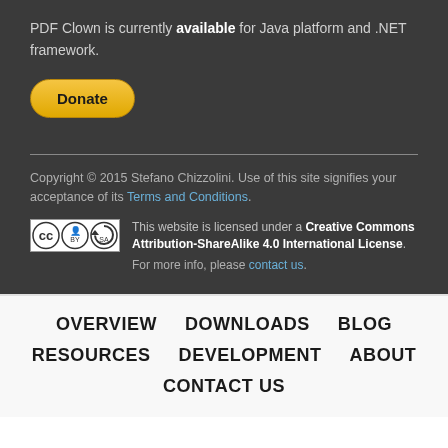PDF Clown is currently available for Java platform and .NET framework.
[Figure (other): PayPal Donate button]
Copyright © 2015 Stefano Chizzolini. Use of this site signifies your acceptance of its Terms and Conditions.
[Figure (logo): Creative Commons BY SA badge]
This website is licensed under a Creative Commons Attribution-ShareAlike 4.0 International License. For more info, please contact us.
OVERVIEW   DOWNLOADS   BLOG   RESOURCES   DEVELOPMENT   ABOUT   CONTACT US